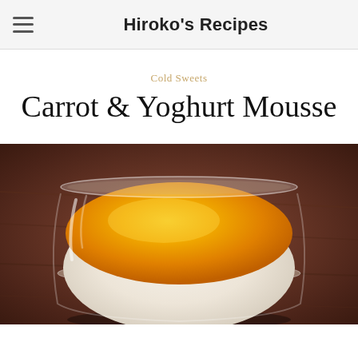Hiroko's Recipes
Cold Sweets
Carrot & Yoghurt Mousse
[Figure (photo): A glass bowl filled with smooth orange carrot and yoghurt mousse, set on a dark wooden surface. The mousse has a bright yellow-orange top layer over a creamy white base, served in a clear round glass dessert cup.]